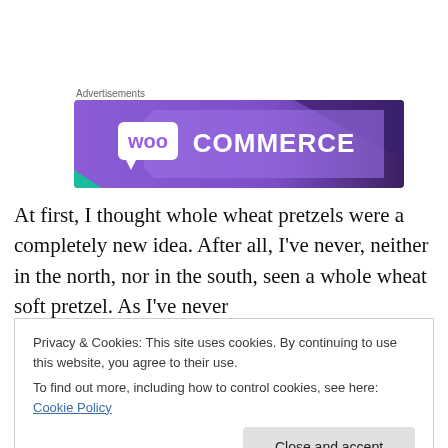Advertisements
[Figure (logo): WooCommerce advertisement banner with purple gradient background and white WooCommerce logo text]
At first, I thought whole wheat pretzels were a completely new idea. After all, I've never, neither in the north, nor in the south, seen a whole wheat soft pretzel. As I've never
Privacy & Cookies: This site uses cookies. By continuing to use this website, you agree to their use.
To find out more, including how to control cookies, see here: Cookie Policy
[Close and accept]
In both points,